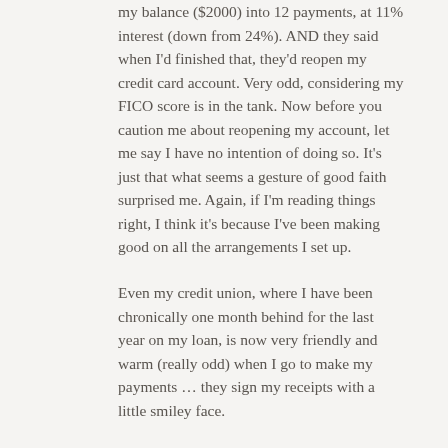my balance ($2000) into 12 payments, at 11% interest (down from 24%). AND they said when I'd finished that, they'd reopen my credit card account. Very odd, considering my FICO score is in the tank. Now before you caution me about reopening my account, let me say I have no intention of doing so. It's just that what seems a gesture of good faith surprised me. Again, if I'm reading things right, I think it's because I've been making good on all the arrangements I set up.
Even my credit union, where I have been chronically one month behind for the last year on my loan, is now very friendly and warm (really odd) when I go to make my payments … they sign my receipts with a little smiley face.
I know it might seem like phony friendliness – but I am pretty cynical about stuff like this, and I do believe it's been genuine.
So, I think the surprising lesson I learned is that if you can get some good faith established by getting some payments done, then establish...